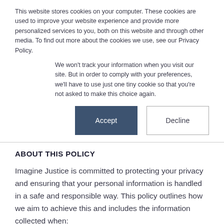This website stores cookies on your computer. These cookies are used to improve your website experience and provide more personalized services to you, both on this website and through other media. To find out more about the cookies we use, see our Privacy Policy.
We won't track your information when you visit our site. But in order to comply with your preferences, we'll have to use just one tiny cookie so that you're not asked to make this choice again.
[Figure (other): Two buttons: Accept (dark blue filled) and Decline (white with border)]
ABOUT THIS POLICY
Imagine Justice is committed to protecting your privacy and ensuring that your personal information is handled in a safe and responsible way. This policy outlines how we aim to achieve this and includes the information collected when: